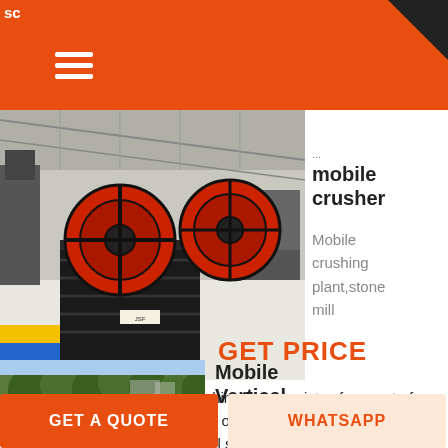sc
[Figure (photo): Industrial mobile jaw crusher machine on display floor in a large factory/exhibition hall, with large red flywheels visible]
mobile crusher
Mobile crushing plant,stone mill
plant,limestone. The stone crushing line consists of one set of mobile jaw crusher and two sets of Mobile Vertical Shaft Impact Crusher is equipped with vertical shaft
GET PRICE
[Figure (photo): Outdoor scene with trees and industrial buildings in the background]
Mobile Vertical
GET A QUOTE
WHATSAPP